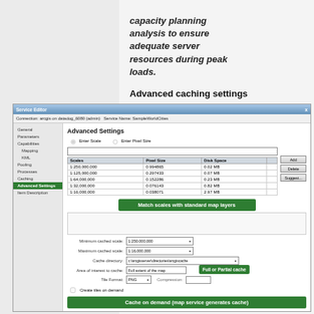capacity planning analysis to ensure adequate server resources during peak loads.
Advanced caching settings
[Figure (screenshot): Service Editor dialog showing Advanced Settings panel with scale table (1:250,000,000 through 1:16,000,000), Minimum/Maximum cached scale dropdowns, Cache directory field, Area of interest, Tile Format, and Create tiles on demand checkbox. Green callout banners: 'Match scales with standard map layers', 'Full or Partial cache', 'Cache on demand (map service generates cache)'.]